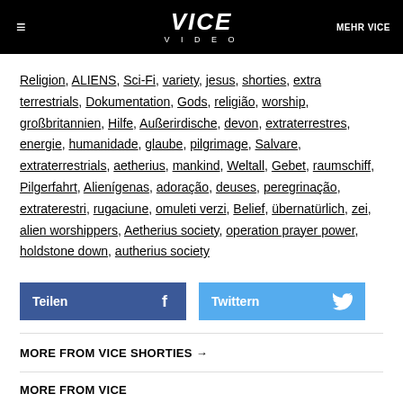≡  VICE VIDEO  MEHR VICE
Religion, ALIENS, Sci-Fi, variety, jesus, shorties, extra terrestrials, Dokumentation, Gods, religião, worship, großbritannien, Hilfe, Außerirdische, devon, extraterrestres, energie, humanidade, glaube, pilgrimage, Salvare, extraterrestrials, aetherius, mankind, Weltall, Gebet, raumschiff, Pilgerfahrt, Alienígenas, adoração, deuses, peregrinação, extraterestri, rugaciune, omuleti verzi, Belief, übernatürlich, zei, alien worshippers, Aetherius society, operation prayer power, holdstone down, autherius society
Teilen  Twittern
MORE FROM VICE SHORTIES →
MORE FROM VICE